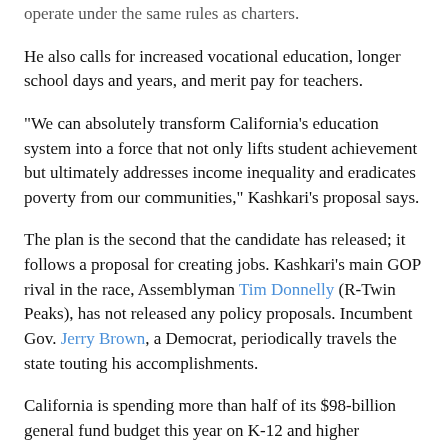operate under the same rules as charters.
He also calls for increased vocational education, longer school days and years, and merit pay for teachers.
"We can absolutely transform California's education system into a force that not only lifts student achievement but ultimately addresses income inequality and eradicates poverty from our communities," Kashkari's proposal says.
The plan is the second that the candidate has released; it follows a proposal for creating jobs. Kashkari's main GOP rival in the race, Assemblyman Tim Donnelly (R-Twin Peaks), has not released any policy proposals. Incumbent Gov. Jerry Brown, a Democrat, periodically travels the state touting his accomplishments.
California is spending more than half of its $98-billion general fund budget this year on K-12 and higher education. After years of cutbacks, Brown proposes more funding for both in his spending blueprint for the fiscal year that begins July 1.
But the state's students rank among the bottom in reading